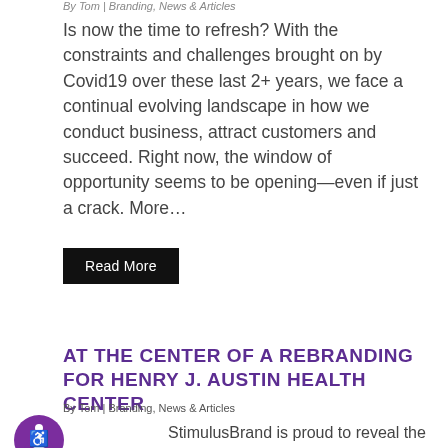By Tom | Branding, News & Articles
Is now the time to refresh? With the constraints and challenges brought on by Covid19 over these last 2+ years, we face a continual evolving landscape in how we conduct business, attract customers and succeed. Right now, the window of opportunity seems to be opening—even if just a crack. More…
Read More
AT THE CENTER OF A REBRANDING FOR HENRY J. AUSTIN HEALTH CENTER
By Tom | Branding, News & Articles
StimulusBrand is proud to reveal the new